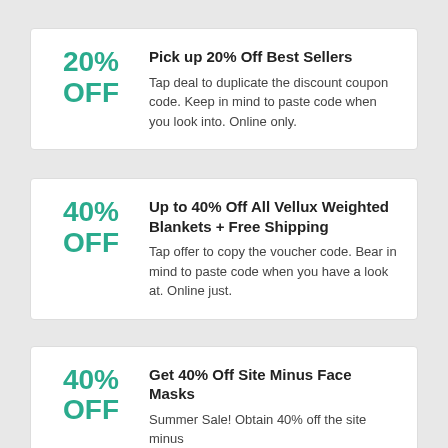Pick up 20% Off Best Sellers
Tap deal to duplicate the discount coupon code. Keep in mind to paste code when you look into. Online only.
Up to 40% Off All Vellux Weighted Blankets + Free Shipping
Tap offer to copy the voucher code. Bear in mind to paste code when you have a look at. Online just.
Get 40% Off Site Minus Face Masks
Summer Sale! Obtain 40% off the site minus